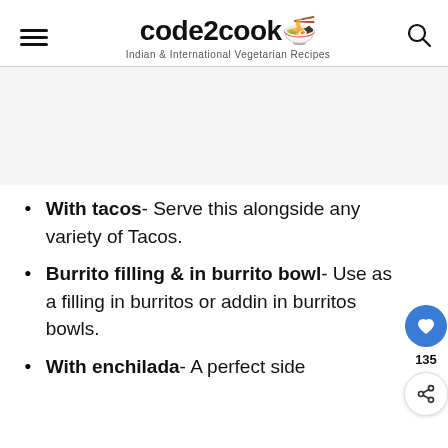code2cook — Indian & International Vegetarian Recipes
[Figure (other): Gray advertisement placeholder area]
With tacos- Serve this alongside any variety of Tacos.
Burrito filling & in burrito bowl- Use as a filling in burritos or adding in burritos bowls.
With enchilada- A perfect side